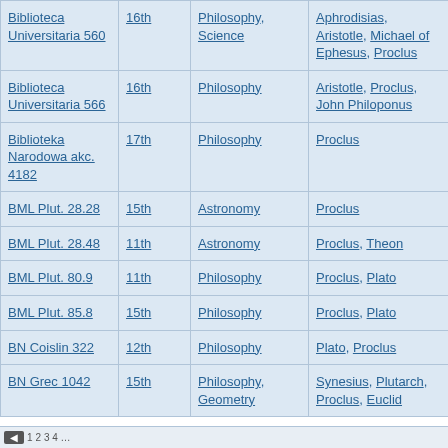| Manuscript | Century | Subject | Authors |
| --- | --- | --- | --- |
| Biblioteca Universitaria 560 | 16th | Philosophy, Science | Aphrodisias, Aristotle, Michael of Ephesus, Proclus |
| Biblioteca Universitaria 566 | 16th | Philosophy | Aristotle, Proclus, John Philoponus |
| Biblioteka Narodowa akc. 4182 | 17th | Philosophy | Proclus |
| BML Plut. 28.28 | 15th | Astronomy | Proclus |
| BML Plut. 28.48 | 11th | Astronomy | Proclus, Theon |
| BML Plut. 80.9 | 11th | Philosophy | Proclus, Plato |
| BML Plut. 85.8 | 15th | Philosophy | Proclus, Plato |
| BN Coislin 322 | 12th | Philosophy | Plato, Proclus |
| BN Grec 1042 | 15th | Philosophy, Geometry | Synesius, Plutarch, Proclus, Euclid |